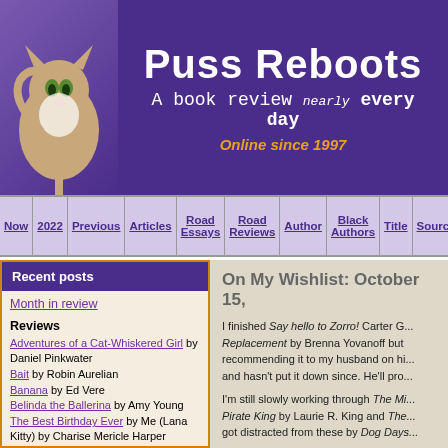Puss Reboots — A book review nearly every day — Online since 1997
Now | 2022 | Previous | Articles | Road Essays | Road Reviews | Author | Black Authors | Title | Source
Recent posts
Month in review
Reviews
Adventures of a Cat-Whiskered Girl by Daniel Pinkwater
Bait by Robin Aurelian
Banana by Ed Vere
Belinda the Ballerina by Amy Young
The Best Birthday Ever by Me (Lana Kitty) by Charise Mericle Harper
Boo to You! by Lois Ehlert
Chasing Demons by R.L.
On My Wishlist: October 15,
I finished Say hello to Zorro! Carter G... Replacement by Brenna Yovanoff but recommending it to my husband on hi... and hasn't put it down since. He'll pro...
I'm still slowly working through The Mi... Pirate King by Laurie R. King and The... got distracted from these by Dog Days...
I plan to start Schenectady by Don Ri... too. One of these days.
My wishlist is at 955 books, up 8 book...